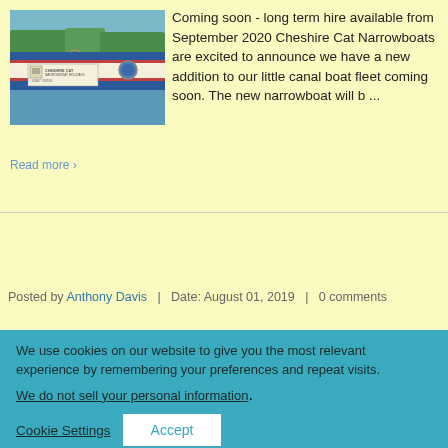[Figure (photo): Narrowboat with Cheshire Cat Narrowboat Holidays branding, showing the side of the boat with contact number 07867 790195]
Coming soon - long term hire available from September 2020 Cheshire Cat Narrowboats are excited to announce we have a new addition to our little canal boat fleet coming soon. The new narrowboat will b ...
Read more >
Posted by Anthony Davis   |   Date: August 01, 2019   |   0 comments
We use cookies on our website to give you the most relevant experience by remembering your preferences and repeat visits.
We do not sell your personal information.
Cookie Settings
Accept